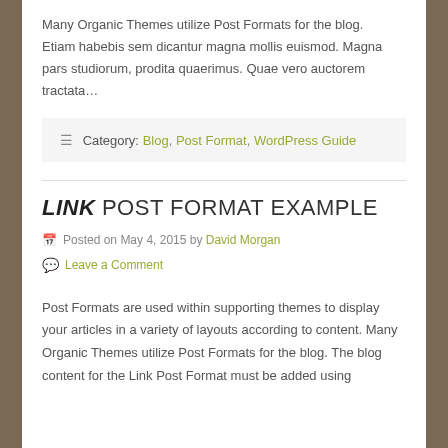Many Organic Themes utilize Post Formats for the blog. Etiam habebis sem dicantur magna mollis euismod. Magna pars studiorum, prodita quaerimus. Quae vero auctorem tractata...
≡ Category: Blog, Post Format, WordPress Guide
LINK POST FORMAT EXAMPLE
Posted on May 4, 2015 by David Morgan
Leave a Comment
Post Formats are used within supporting themes to display your articles in a variety of layouts according to content. Many Organic Themes utilize Post Formats for the blog. The blog content for the Link Post Format must be added using